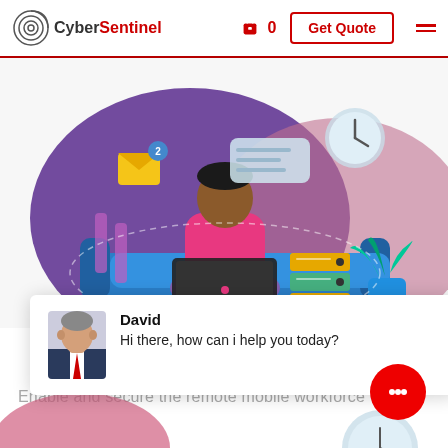CyberSentinel | 0 | Get Quote
[Figure (illustration): Flat-style illustration of a person sitting on a blue sofa working on a laptop, surrounded by floating email, files, chat bubble, and clock icons on a purple/pink background.]
David
Hi there, how can i help you today?
Enable and secure the remote mobile workforce